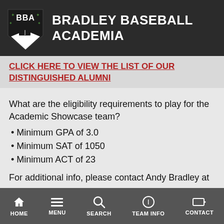BRADLEY BASEBALL ACADEMIA
CLICK HERE TO VIEW THE LIST OF OUR DISTINGUISHED ALUMNI
What are the eligibility requirements to play for the Academic Showcase team?
Minimum GPA of 3.0
Minimum SAT of 1050
Minimum ACT of 23
For additional info, please contact Andy Bradley at bradleybaseballacademy@gmail.com.
Collegiate Summer
HOME  MENU  SEARCH  TEAM INFO  CONTACT